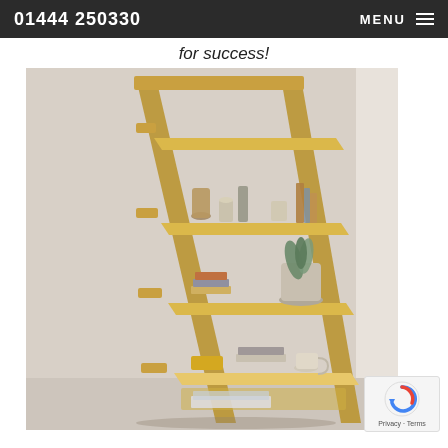01444 250330  MENU
for success!
[Figure (photo): A wooden ladder-style leaning shelf unit with multiple shelves holding decorative items, books, a plant, a coffee cup, and a pull-out desk surface, leaning against a light grey wall in a home office setting.]
[Figure (other): reCAPTCHA Privacy - Terms badge in bottom right corner]